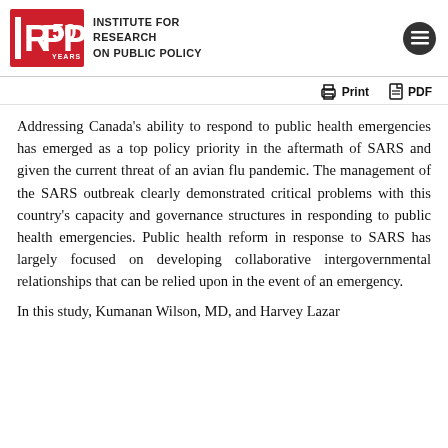INSTITUTE FOR RESEARCH ON PUBLIC POLICY
Addressing Canada's ability to respond to public health emergencies has emerged as a top policy priority in the aftermath of SARS and given the current threat of an avian flu pandemic. The management of the SARS outbreak clearly demonstrated critical problems with this country's capacity and governance structures in responding to public health emergencies. Public health reform in response to SARS has largely focused on developing collaborative intergovernmental relationships that can be relied upon in the event of an emergency.
In this study, Kumanan Wilson, MD, and Harvey Lazar